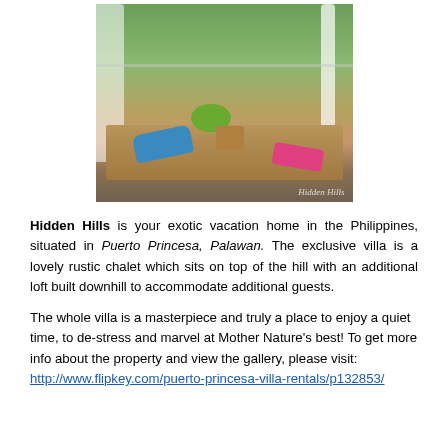[Figure (photo): Outdoor terrace or rooftop area with a wooden platform/daybed, colorful pillows (blue, pink), coconuts, a basket, white curtains and white pillar, lush green trees in background. Watermark reads 'Hidden Hills'.]
Hidden Hills is your exotic vacation home in the Philippines, situated in Puerto Princesa, Palawan. The exclusive villa is a lovely rustic chalet which sits on top of the hill with an additional loft built downhill to accommodate additional guests.
The whole villa is a masterpiece and truly a place to enjoy a quiet time, to de-stress and marvel at Mother Nature's best! To get more info about the property and view the gallery, please visit: http://www.flipkey.com/puerto-princesa-villa-rentals/p132853/